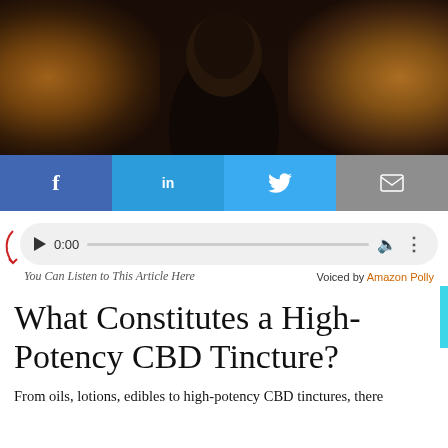[Figure (photo): Photo of a person seen from behind with short brown hair, wearing dark clothing, standing in an autumn forest with orange and brown leaves in the background.]
[Figure (infographic): Social media share buttons: Facebook (f), LinkedIn (in), Twitter (bird icon), Email (envelope icon)]
[Figure (infographic): Audio player widget showing play button, 0:00 timestamp, progress bar, volume and menu icons. Below: 'You Can Listen to This Article Here' on left and 'Voiced by Amazon Polly' on right.]
What Constitutes a High-Potency CBD Tincture?
From oils, lotions, edibles to high-potency CBD tinctures, there